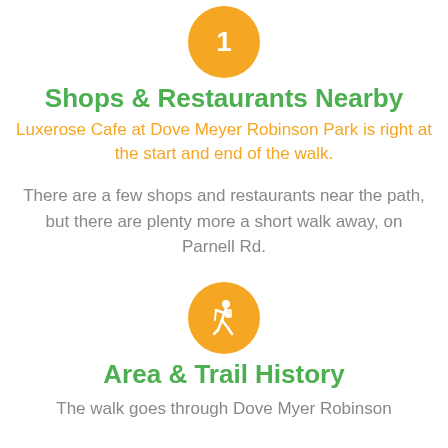[Figure (infographic): Orange circle with number 1 inside (white)]
Shops & Restaurants Nearby
Luxerose Cafe at Dove Meyer Robinson Park is right at the start and end of the walk.
There are a few shops and restaurants near the path, but there are plenty more a short walk away, on Parnell Rd.
[Figure (infographic): Orange circle with hiker/walking person icon inside (white)]
Area & Trail History
The walk goes through Dove Myer Robinson